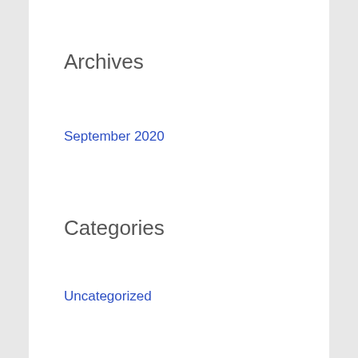Archives
September 2020
Categories
Uncategorized
Meta
Log in
Entries feed
Comments feed
WordPress.org